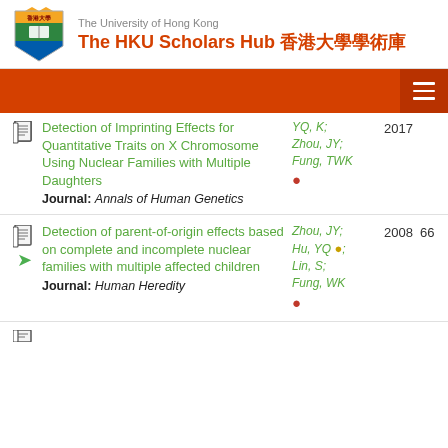The University of Hong Kong — The HKU Scholars Hub 香港大學學術庫
Detection of Imprinting Effects for Quantitative Traits on X Chromosome Using Nuclear Families with Multiple Daughters | Journal: Annals of Human Genetics | Authors: YQ, K; Zhou, JY; Fung, TWK | Year: 2017
Detection of parent-of-origin effects based on complete and incomplete nuclear families with multiple affected children | Journal: Human Heredity | Authors: Zhou, JY; Hu, YQ; Lin, S; Fung, WK | Year: 2008 | Citations: 66